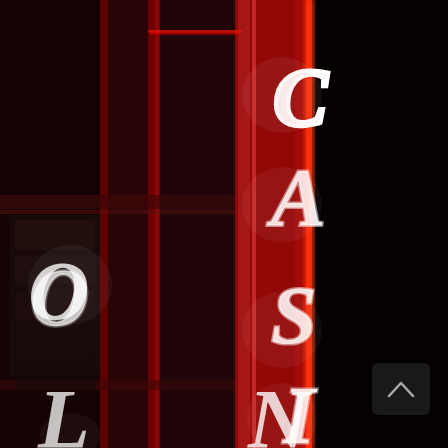[Figure (photo): Nighttime photograph of a casino exterior featuring vertical neon signs reading 'CASINO' with glowing white letters on a red neon-lit pillar/column structure against a dark background. The sign is partially visible showing letters C, A, S, I on the main column, and partial letters of a second sign visible on the left side. A small scroll-to-top UI button is visible in the lower right corner.]